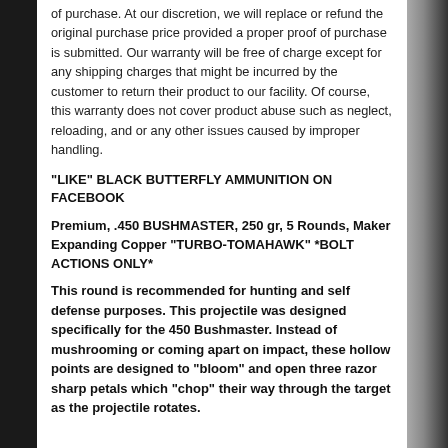of purchase. At our discretion, we will replace or refund the original purchase price provided a proper proof of purchase is submitted. Our warranty will be free of charge except for any shipping charges that might be incurred by the customer to return their product to our facility. Of course, this warranty does not cover product abuse such as neglect, reloading, and or any other issues caused by improper handling.
"LIKE" BLACK BUTTERFLY AMMUNITION ON FACEBOOK
Premium, .450 BUSHMASTER, 250 gr, 5 Rounds, Maker Expanding Copper "TURBO-TOMAHAWK" *BOLT ACTIONS ONLY*
This round is recommended for hunting and self defense purposes. This projectile was designed specifically for the 450 Bushmaster. Instead of mushrooming or coming apart on impact, these hollow points are designed to "bloom" and open three razor sharp petals which "chop" their way through the target as the projectile rotates.